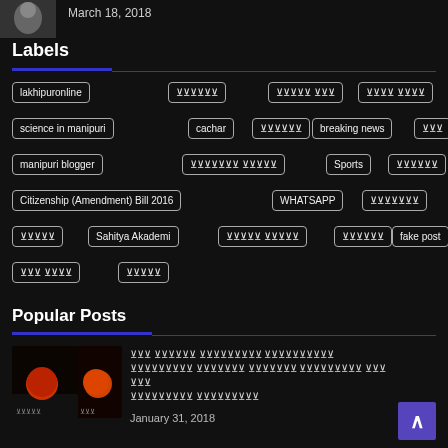[Figure (photo): Thumbnail image of a person, partially visible]
March 18, 2018
Labels
lakhipuronline
[Meitei script tag]
[Meitei script tag]
[Meitei script tag]
science in manipuri
cachar
[Meitei script tag]
breaking news
[Meitei script tag]
manipuri blogger
[Meitei script tag]
Sports
[Meitei script tag]
Citizenship (Amendment) Bill 2016
WHATSAPP
[Meitei script tag]
[Meitei script tag]
Sahitya Akademi
[Meitei script tag]
[Meitei script tag]
fake post
[Meitei script tag]
[Meitei script tag]
Popular Posts
[Figure (photo): Two-panel thumbnail: left shows silhouette cityscape with red blood moon; right shows red moon close-up]
[Meitei script article title]
January 31, 2018